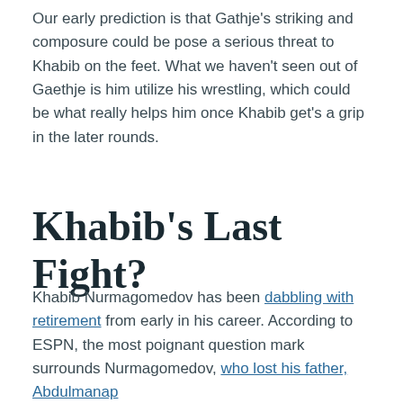Our early prediction is that Gathje's striking and composure could be pose a serious threat to Khabib on the feet. What we haven't seen out of Gaethje is him utilize his wrestling, which could be what really helps him once Khabib get's a grip in the later rounds.
Khabib's Last Fight?
Khabib Nurmagomedov has been dabbling with retirement from early in his career. According to ESPN, the most poignant question mark surrounds Nurmagomedov, who lost his father, Abdulmanap